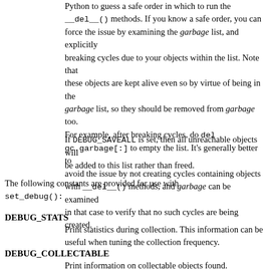Python to guess a safe order in which to run the __del__() methods. If you know a safe order, you can force the issue by examining the garbage list, and explicitly breaking cycles due to your objects within the list. Note that these objects are kept alive even so by virtue of being in the garbage list, so they should be removed from garbage too. For example, after breaking cycles, do del gc.garbage[:] to empty the list. It's generally better to avoid the issue by not creating cycles containing objects with __del__() methods, and garbage can be examined in that case to verify that no such cycles are being created.
If DEBUG_SAVEALL is set, then all unreachable objects will be added to this list rather than freed.
The following constants are provided for use with set_debug():
DEBUG_STATS
Print statistics during collection. This information can be useful when tuning the collection frequency.
DEBUG_COLLECTABLE
Print information on collectable objects found.
DEBUG_UNCOLLECTABLE